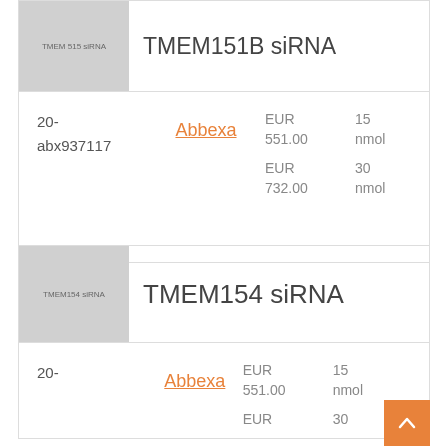TMEM151B siRNA
| ID | Supplier | Price | Quantity |
| --- | --- | --- | --- |
| 20-abx937117 | Abbexa | EUR 551.00 / EUR 732.00 | 15 nmol / 30 nmol |
TMEM154 siRNA
| ID | Supplier | Price | Quantity |
| --- | --- | --- | --- |
| 20- | Abbexa | EUR 551.00 / EUR | 15 nmol / 30 |